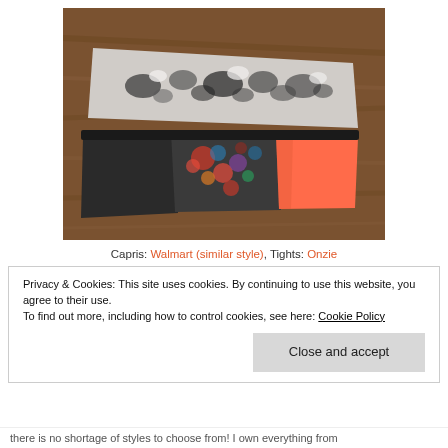[Figure (photo): Two pairs of athletic pants/tights laid flat on a wooden floor. Top pair: black and white patterned/tie-dye style capris. Bottom pair: black, multicolor floral print, and coral/neon orange tights.]
Capris: Walmart (similar style), Tights: Onzie
Privacy & Cookies: This site uses cookies. By continuing to use this website, you agree to their use.
To find out more, including how to control cookies, see here: Cookie Policy
Close and accept
there is no shortage of styles to choose from! I own everything from